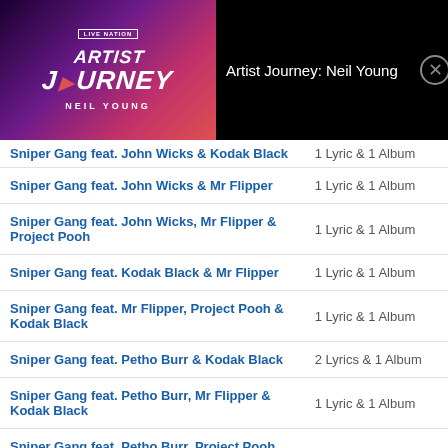[Figure (illustration): Artist Journey: Neil Young album art with Live Nation badge, purple/pink gradient background, stylized 'ARTIST JOURNEY' text with play arrow, 'NEIL YOUNG' label]
Artist Journey: Neil Young
| Artist | Content |
| --- | --- |
| Sniper Gang feat. John Wicks & Kodak Black | 1 Lyric & 1 Album |
| Sniper Gang feat. John Wicks & Mr Flipper | 1 Lyric & 1 Album |
| Sniper Gang feat. John Wicks, Mr Flipper & Project Pooh | 1 Lyric & 1 Album |
| Sniper Gang feat. Kodak Black & Mr Flipper | 1 Lyric & 1 Album |
| Sniper Gang feat. Mr Flipper, Project Pooh & Kodak Black | 1 Lyric & 1 Album |
| Sniper Gang feat. Petho Burr & Kodak Black | 2 Lyrics & 1 Album |
| Sniper Gang feat. Petho Burr, Mr Flipper & Kodak Black | 1 Lyric & 1 Album |
| Sniper Gang feat. Petho Burr, Project Pooh, Mr Flipper & John Wicks | 1 Lyric & 1 Album |
| Sniper Gang feat. PnB Rock & Kodak Black | 1 Lyric & 1 Album |
| Sniper Gang feat. Project Pooh | 2 Lyrics & 1 Album |